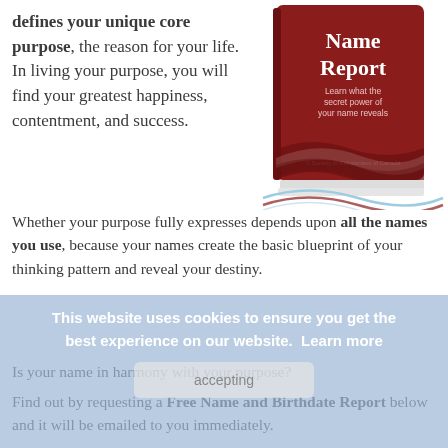defines your unique core purpose, the reason for your life. In living your purpose, you will find your greatest happiness, contentment, and success.
[Figure (illustration): Book cover image titled 'Name Report' with subtitle 'Learn what the secret power of your name reveals', dark red cover with wave design at bottom]
Whether your purpose fully expresses depends upon all the names you use, because your names create the basic blueprint of your thinking pattern and reveal your destiny.
Is your name in harmony with your purpose?
This website uses cookies to ensure you get the best experience on our website. Learn more
Find out by requesting a Free Name and Birthdate Report below and it will be emailed to you immediately.